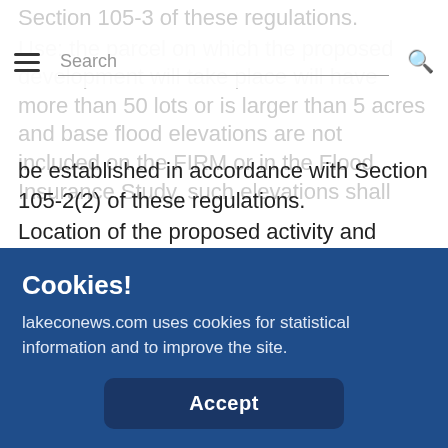Section 105-3 of these regulations.
Use: the parcel on which the proposed development will take place will have more than 50 lots or is larger than 5 acres and base flood elevations are not included on the FIRM or in the Flood Insurance Study, such elevations shall be established in accordance with Section 105-2(2) of these regulations.
Location of the proposed activity and proposed structures; locations of water supply, sanitary sewer, and other utilities; and locations of existing buildings and structures.
Location, extent, amount, and proposed final grades of any filling, grading, or excavation.
Cookies!
lakeconews.com uses cookies for statistical information and to improve the site.
Accept